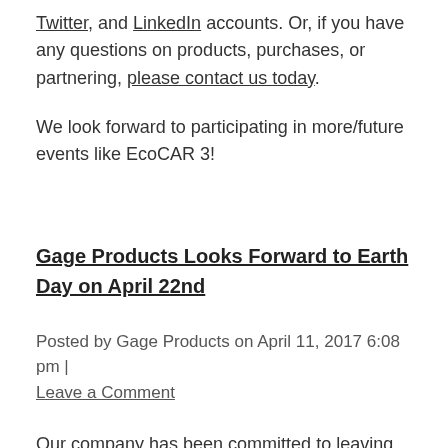Twitter, and LinkedIn accounts. Or, if you have any questions on products, purchases, or partnering, please contact us today.
We look forward to participating in more/future events like EcoCAR 3!
Gage Products Looks Forward to Earth Day on April 22nd
Posted by Gage Products on April 11, 2017 6:08 pm | Leave a Comment
Our company has been committed to leaving the